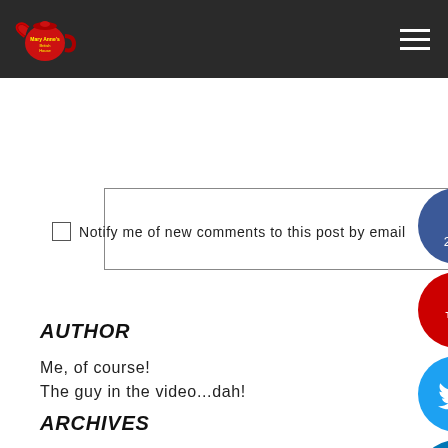[Site logo and navigation hamburger menu on dark header bar]
[Comment input textarea]
Notify me of new comments to this post by email
SUBMIT
[Figure (infographic): Social media icon circles on right side: Facebook (2.0k), YouTube, Twitter, LinkedIn, Instagram, Messenger]
AUTHOR
Me, of course!
The guy in the video...dah!
ARCHIVES
September 2020
August 2020
July 2020
June 2020